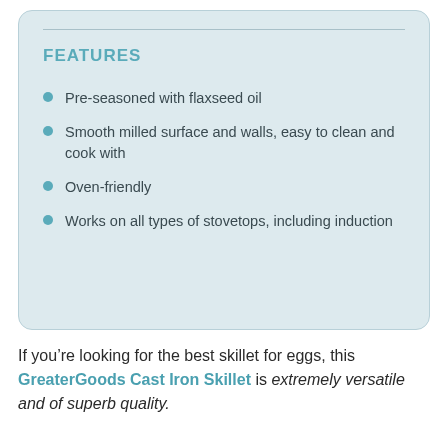FEATURES
Pre-seasoned with flaxseed oil
Smooth milled surface and walls, easy to clean and cook with
Oven-friendly
Works on all types of stovetops, including induction
If you’re looking for the best skillet for eggs, this GreaterGoods Cast Iron Skillet is extremely versatile and of superb quality.